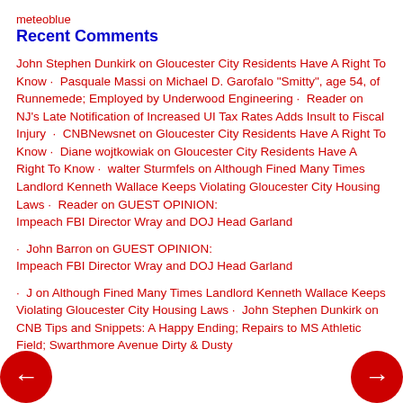meteoblue
Recent Comments
John Stephen Dunkirk on Gloucester City Residents Have A Right To Know · Pasquale Massi on Michael D. Garofalo "Smitty", age 54, of Runnemede; Employed by Underwood Engineering · Reader on NJ's Late Notification of Increased UI Tax Rates Adds Insult to Fiscal Injury · CNBNewsnet on Gloucester City Residents Have A Right To Know · Diane wojtkowiak on Gloucester City Residents Have A Right To Know · walter Sturmfels on Although Fined Many Times Landlord Kenneth Wallace Keeps Violating Gloucester City Housing Laws · Reader on GUEST OPINION: Impeach FBI Director Wray and DOJ Head Garland
John Barron on GUEST OPINION: Impeach FBI Director Wray and DOJ Head Garland
J on Although Fined Many Times Landlord Kenneth Wallace Keeps Violating Gloucester City Housing Laws · John Stephen Dunkirk on CNB Tips and Snippets: A Happy Ending; Repairs to MS Athletic Field; Swarthmore Avenue Dirty & Dusty